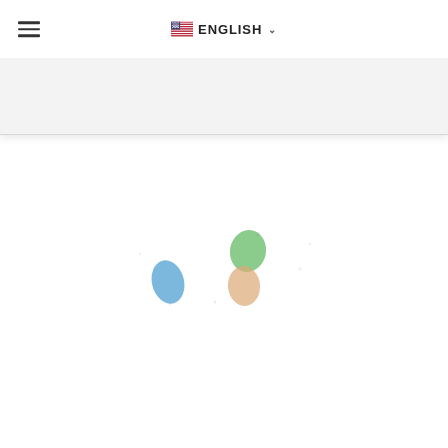[Figure (screenshot): Website navigation bar with hamburger menu icon on the left and an English language selector (US flag with dropdown chevron) in the center]
[Figure (map): Partial world map or geographic region rendered as a loading/scatter of colored blobs (blue, green, peach/orange) on white background, appearing to show islands or small landmasses]